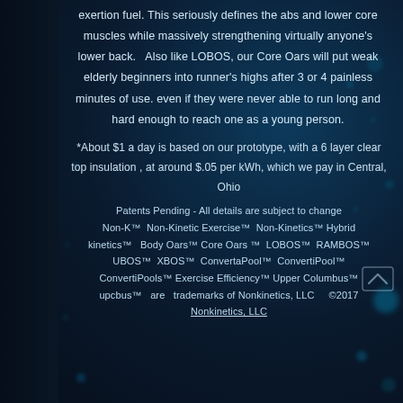exertion fuel. This seriously defines the abs and lower core muscles while massively strengthening virtually anyone's lower back.   Also like LOBOS, our Core Oars will put weak elderly beginners into runner's highs after 3 or 4 painless minutes of use. even if they were never able to run long and hard enough to reach one as a young person.
*About $1 a day is based on our prototype, with a 6 layer clear top insulation , at around $.05 per kWh, which we pay in Central, Ohio
Patents Pending - All details are subject to change Non-K™  Non-Kinetic Exercise™  Non-Kinetics™ Hybrid kinetics™   Body Oars™ Core Oars ™  LOBOS™  RAMBOS™  UBOS™  XBOS™  ConvertaPool™  ConvertiPool™  ConvertiPools™ Exercise Efficiency™ Upper Columbus™ upcbus™  are  trademarks of Nonkinetics, LLC      ©2017 Nonkinetics, LLC